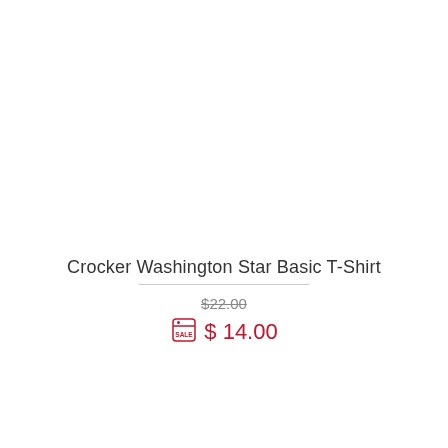Crocker Washington Star Basic T-Shirt
$22.00
$ 14.00